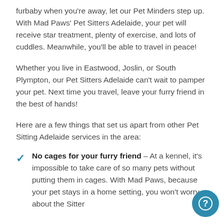furbaby when you're away, let our Pet Minders step up. With Mad Paws' Pet Sitters Adelaide, your pet will receive star treatment, plenty of exercise, and lots of cuddles. Meanwhile, you'll be able to travel in peace!
Whether you live in Eastwood, Joslin, or South Plympton, our Pet Sitters Adelaide can't wait to pamper your pet. Next time you travel, leave your furry friend in the best of hands!
Here are a few things that set us apart from other Pet Sitting Adelaide services in the area:
No cages for your furry friend – At a kennel, it's impossible to take care of so many pets without putting them in cages. With Mad Paws, because your pet stays in a home setting, you won't worry about the Sitter